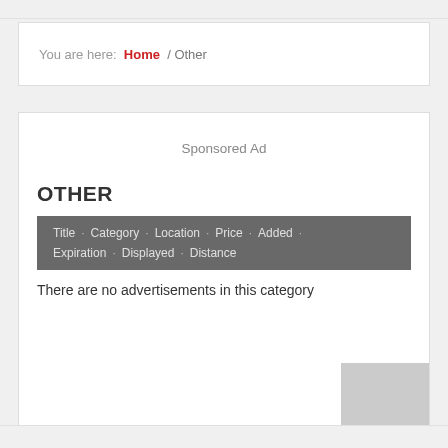You are here:  Home  /  Other
Sponsored Ad
OTHER
| Title | Category | Location | Price | Added | Expiration | Displayed | Distance |
| --- | --- | --- | --- | --- | --- | --- | --- |
| There are no advertisements in this category |
There are no advertisements in this category